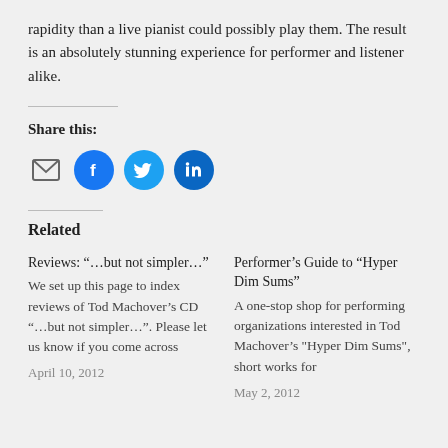rapidity than a live pianist could possibly play them. The result is an absolutely stunning experience for performer and listener alike.
Share this:
[Figure (infographic): Social share icons: email, Facebook (blue circle), Twitter (light blue circle), LinkedIn (dark blue circle)]
Related
Reviews: “…but not simpler…”
We set up this page to index reviews of Tod Machover’s CD “…but not simpler…”. Please let us know if you come across
April 10, 2012
Performer’s Guide to “Hyper Dim Sums”
A one-stop shop for performing organizations interested in Tod Machover’s "Hyper Dim Sums", short works for
May 2, 2012